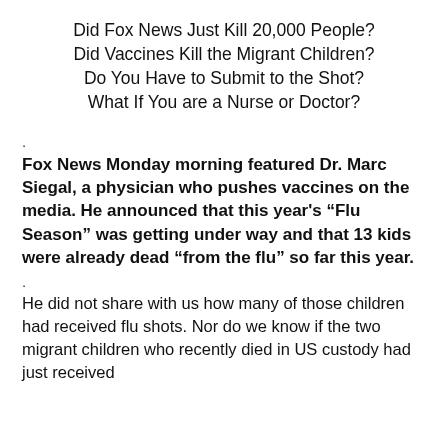Did Fox News Just Kill 20,000 People?
Did Vaccines Kill the Migrant Children?
Do You Have to Submit to the Shot?
What If You are a Nurse or Doctor?
.
Fox News Monday morning featured Dr. Marc Siegal, a physician who pushes vaccines on the media. He announced that this year's “Flu Season” was getting under way and that 13 kids were already dead “from the flu” so far this year.
.
He did not share with us how many of those children had received flu shots. Nor do we know if the two migrant children who recently died in US custody had just received